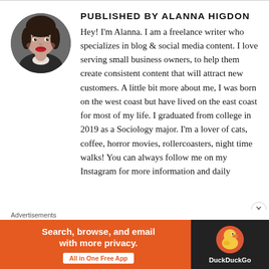[Figure (photo): Circular avatar photo of Alanna Higdon, a young woman with dark hair and red lips]
PUBLISHED BY ALANNA HIGDON
Hey! I'm Alanna. I am a freelance writer who specializes in blog & social media content. I love serving small business owners, to help them create consistent content that will attract new customers. A little bit more about me, I was born on the west coast but have lived on the east coast for most of my life. I graduated from college in 2019 as a Sociology major. I'm a lover of cats, coffee, horror movies, rollercoasters, night time walks! You can always follow me on my Instagram for more information and daily
Advertisements
[Figure (infographic): DuckDuckGo advertisement banner. Orange left panel with text 'Search, browse, and email with more privacy. All in One Free App'. Dark right panel with DuckDuckGo duck logo and text 'DuckDuckGo'.]